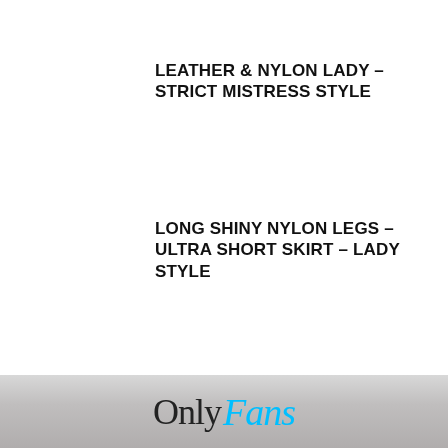LEATHER & NYLON LADY – STRICT MISTRESS STYLE
LONG SHINY NYLON LEGS – ULTRA SHORT SKIRT – LADY STYLE
[Figure (infographic): Social sharing bar with Twitter (blue), WhatsApp (green), Pinterest (red), Facebook (dark blue), Reddit (dark grey), and More (light grey) buttons with white icons]
[Figure (logo): OnlyFans logo with 'Only' in thin black serif font and 'Fans' in cyan italic font, on a blurred light background with a person visible]